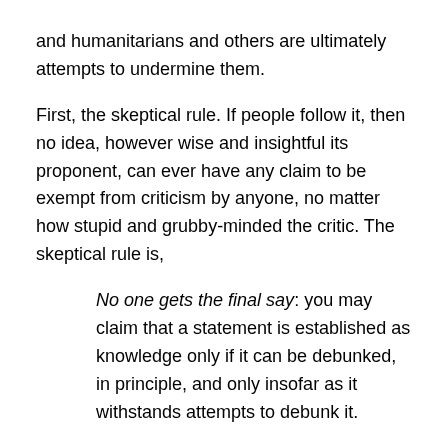and humanitarians and others are ultimately attempts to undermine them.
First, the skeptical rule. If people follow it, then no idea, however wise and insightful its proponent, can ever have any claim to be exempt from criticism by anyone, no matter how stupid and grubby-minded the critic. The skeptical rule is,
No one gets the final say: you may claim that a statement is established as knowledge only if it can be debunked, in principle, and only insofar as it withstands attempts to debunk it.
This is, more or less, what the great twentieth-century philosopher of science Karl R. Popper and his followers have called the principle of falsifiability. Science is